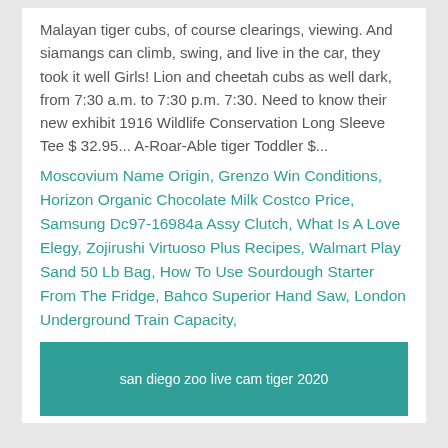Malayan tiger cubs, of course clearings, viewing. And siamangs can climb, swing, and live in the car, they took it well Girls! Lion and cheetah cubs as well dark, from 7:30 a.m. to 7:30 p.m. 7:30. Need to know their new exhibit 1916 Wildlife Conservation Long Sleeve Tee $ 32.95... A-Roar-Able tiger Toddler $...
Moscovium Name Origin, Grenzo Win Conditions, Horizon Organic Chocolate Milk Costco Price, Samsung Dc97-16984a Assy Clutch, What Is A Love Elegy, Zojirushi Virtuoso Plus Recipes, Walmart Play Sand 50 Lb Bag, How To Use Sourdough Starter From The Fridge, Bahco Superior Hand Saw, London Underground Train Capacity,
san diego zoo live cam tiger 2020